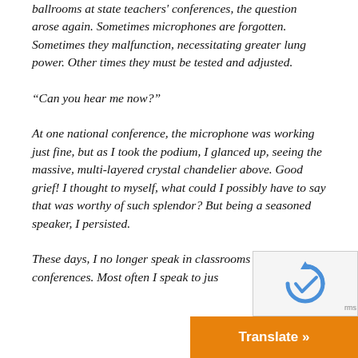ballrooms at state teachers' conferences, the question arose again. Sometimes microphones are forgotten. Sometimes they malfunction, necessitating greater lung power. Other times they must be tested and adjusted.
“Can you hear me now?”
At one national conference, the microphone was working just fine, but as I took the podium, I glanced up, seeing the massive, multi-layered crystal chandelier above. Good grief! I thought to myself, what could I possibly have to say that was worthy of such splendor? But being a seasoned speaker, I persisted.
These days, I no longer speak in classrooms or conferences. Most often I speak to jus...